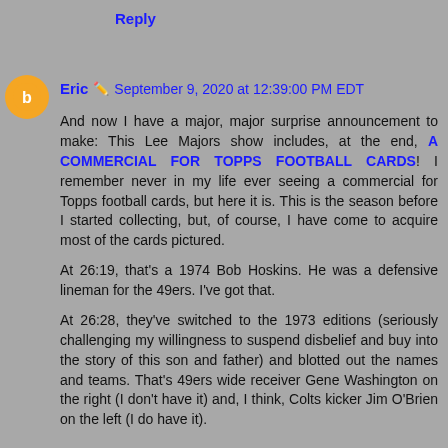Reply
Eric  September 9, 2020 at 12:39:00 PM EDT
And now I have a major, major surprise announcement to make: This Lee Majors show includes, at the end, A COMMERCIAL FOR TOPPS FOOTBALL CARDS! I remember never in my life ever seeing a commercial for Topps football cards, but here it is. This is the season before I started collecting, but, of course, I have come to acquire most of the cards pictured.

At 26:19, that's a 1974 Bob Hoskins. He was a defensive lineman for the 49ers. I've got that.

At 26:28, they've switched to the 1973 editions (seriously challenging my willingness to suspend disbelief and buy into the story of this son and father) and blotted out the names and teams. That's 49ers wide receiver Gene Washington on the right (I don't have it) and, I think, Colts kicker Jim O'Brien on the left (I do have it).